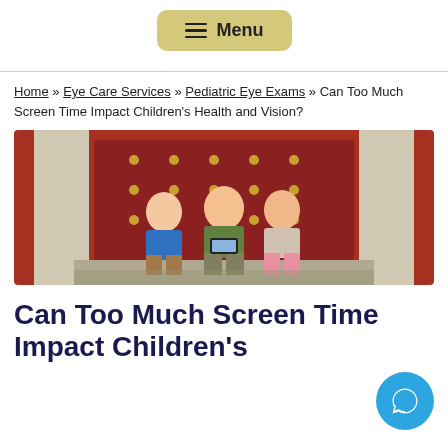Menu
Home » Eye Care Services » Pediatric Eye Exams » Can Too Much Screen Time Impact Children's Health and Vision?
[Figure (photo): Three young boys sitting together looking at a smartphone, in front of a large red ornate door]
Can Too Much Screen Time Impact Children's